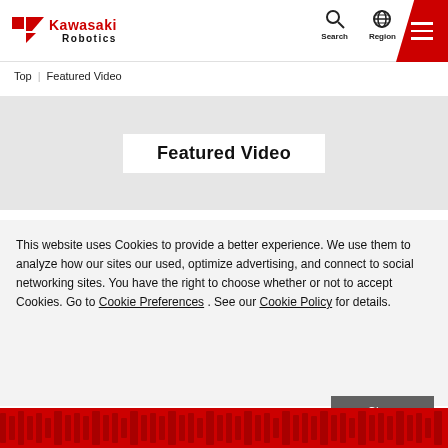Kawasaki Robotics - Search - Region - Menu
Top | Featured Video
Featured Video
This website uses Cookies to provide a better experience. We use them to analyze how our sites our used, optimize advertising, and connect to social networking sites. You have the right to choose whether or not to accept Cookies. Go to Cookie Preferences . See our Cookie Policy for details.
Close